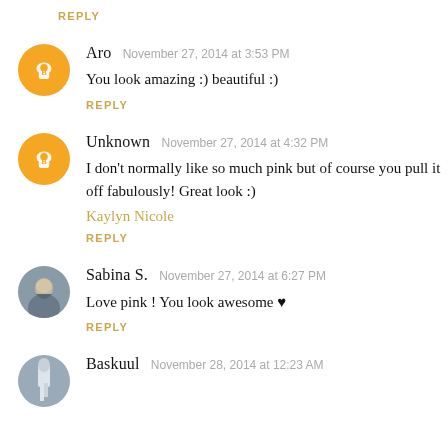REPLY
Aro  November 27, 2014 at 3:53 PM
You look amazing :) beautiful :)
REPLY
Unknown  November 27, 2014 at 4:32 PM
I don't normally like so much pink but of course you pull it off fabulously! Great look :)
Kaylyn Nicole
REPLY
Sabina S.  November 27, 2014 at 6:27 PM
Love pink ! You look awesome ♥
REPLY
Baskuul  November 28, 2014 at 12:23 AM